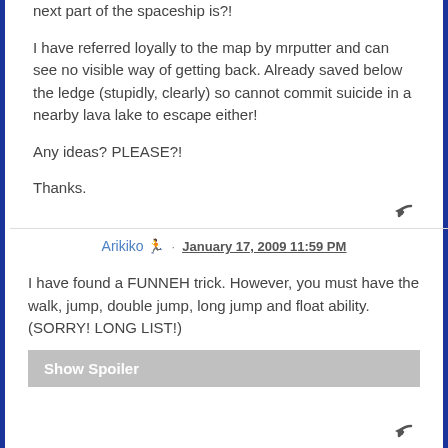next part of the spaceship is?!
I have referred loyally to the map by mrputter and can see no visible way of getting back. Already saved below the ledge (stupidly, clearly) so cannot commit suicide in a nearby lava lake to escape either!
Any ideas? PLEASE?!
Thanks.
Arikiko · January 17, 2009 11:59 PM
I have found a FUNNEH trick. However, you must have the walk, jump, double jump, long jump and float ability. (SORRY! LONG LIST!)
Show Spoiler